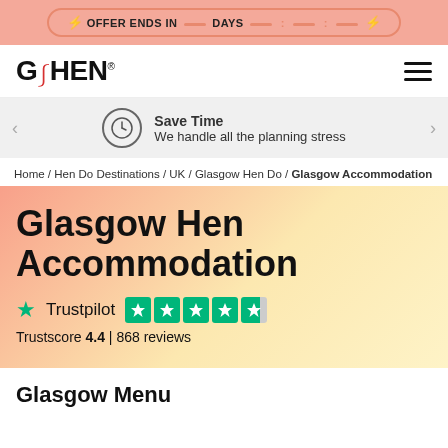⚡ OFFER ENDS IN — DAYS — : — : — ⚡
[Figure (logo): Go Hen logo with red horns icon and hamburger menu]
Save Time
We handle all the planning stress
Home / Hen Do Destinations / UK / Glasgow Hen Do / Glasgow Accommodation
Glasgow Hen Accommodation
[Figure (other): Trustpilot rating: 4.5 stars out of 5, Trustscore 4.4, 868 reviews]
Trustscore 4.4 | 868 reviews
Glasgow Menu